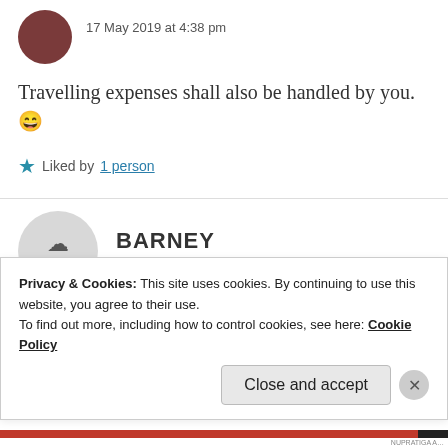17 May 2019 at 4:38 pm
Travelling expenses shall also be handled by you. 😄
★ Liked by 1 person
BARNEY
17 May 2019 at 4:39 pm
Privacy & Cookies: This site uses cookies. By continuing to use this website, you agree to their use.
To find out more, including how to control cookies, see here: Cookie Policy
Close and accept